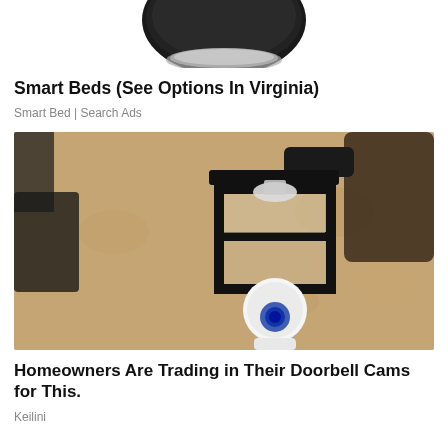[Figure (photo): Partial top of a black smart bed device against white background, cropped]
Smart Beds (See Options In Virginia)
Smart Bed | Search Ads
[Figure (photo): Outdoor wall lantern light fixture mounted on a stucco wall with a white security camera underneath it]
Homeowners Are Trading in Their Doorbell Cams for This.
Keilini